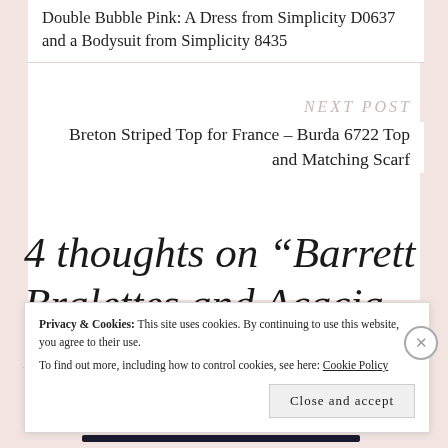Double Bubble Pink: A Dress from Simplicity D0637 and a Bodysuit from Simplicity 8435
NEXT POST
Breton Striped Top for France – Burda 6722 Top and Matching Scarf
4 thoughts on “Barrett Bralettes and Acacia Panties made
Privacy & Cookies: This site uses cookies. By continuing to use this website, you agree to their use.
To find out more, including how to control cookies, see here: Cookie Policy
Close and accept